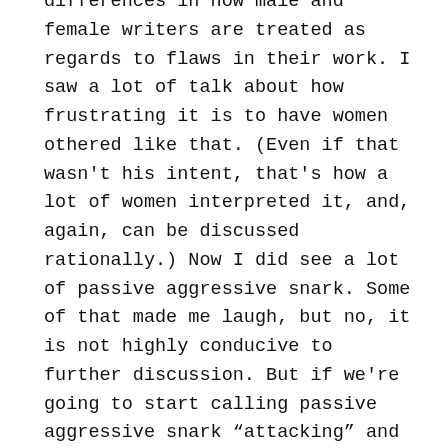differences in how male and female writers are treated as regards to flaws in their work. I saw a lot of talk about how frustrating it is to have women othered like that. (Even if that wasn't his intent, that's how a lot of women interpreted it, and, again, can be discussed rationally.) Now I did see a lot of passive aggressive snark. Some of that made me laugh, but no, it is not highly conducive to further discussion. But if we're going to start calling passive aggressive snark “attacking” and “bullying”, then we all need to just evacuate social media immediately. Honestly, I was confused that he shut down his